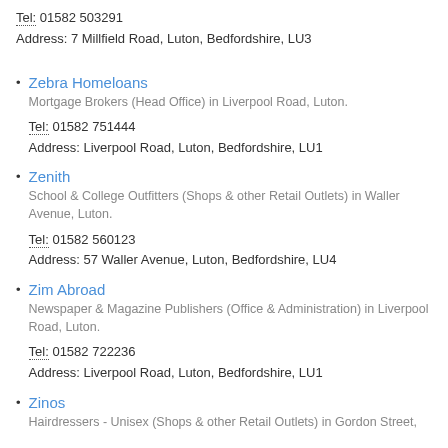Tel: 01582 503291
Address: 7 Millfield Road, Luton, Bedfordshire, LU3
Zebra Homeloans
Mortgage Brokers (Head Office) in Liverpool Road, Luton.
Tel: 01582 751444
Address: Liverpool Road, Luton, Bedfordshire, LU1
Zenith
School & College Outfitters (Shops & other Retail Outlets) in Waller Avenue, Luton.
Tel: 01582 560123
Address: 57 Waller Avenue, Luton, Bedfordshire, LU4
Zim Abroad
Newspaper & Magazine Publishers (Office & Administration) in Liverpool Road, Luton.
Tel: 01582 722236
Address: Liverpool Road, Luton, Bedfordshire, LU1
Zinos
Hairdressers - Unisex (Shops & other Retail Outlets) in Gordon Street,